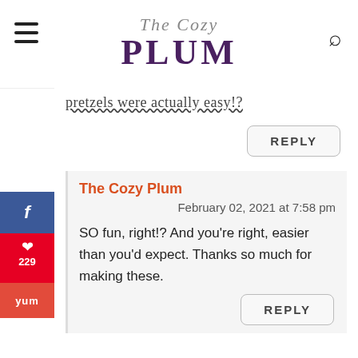The Cozy Plum
pretzels were actually easy!?
REPLY
The Cozy Plum
February 02, 2021 at 7:58 pm
SO fun, right!? And you're right, easier than you'd expect. Thanks so much for making these.
REPLY